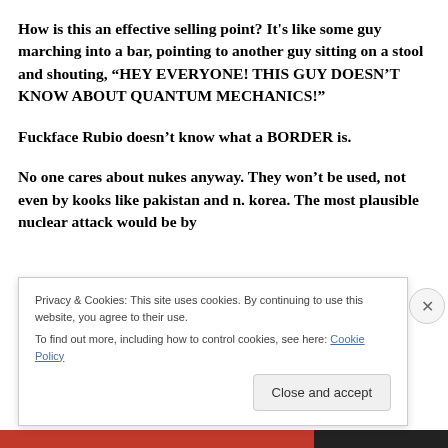How is this an effective selling point? It's like some guy marching into a bar, pointing to another guy sitting on a stool and shouting, “HEY EVERYONE! THIS GUY DOESN’T KNOW ABOUT QUANTUM MECHANICS!”
Fuckface Rubio doesn’t know what a BORDER is.
No one cares about nukes anyway. They won’t be used, not even by kooks like pakistan and n. korea. The most plausible nuclear attack would be by
Privacy & Cookies: This site uses cookies. By continuing to use this website, you agree to their use.
To find out more, including how to control cookies, see here: Cookie Policy